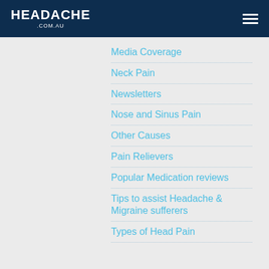HEADACHE .COM.AU
Media Coverage
Neck Pain
Newsletters
Nose and Sinus Pain
Other Causes
Pain Relievers
Popular Medication reviews
Tips to assist Headache & Migraine sufferers
Types of Head Pain